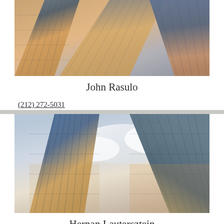[Figure (photo): Upward-looking photograph of glass skyscrapers with warm sunset reflections, shown cropped at top of card]
John Rasulo
(212) 272-5031
VIEW WEBSITE >
[Figure (photo): Upward-looking photograph of modern glass skyscrapers reflecting dramatic cloudy sky]
Hernan Lautersztein